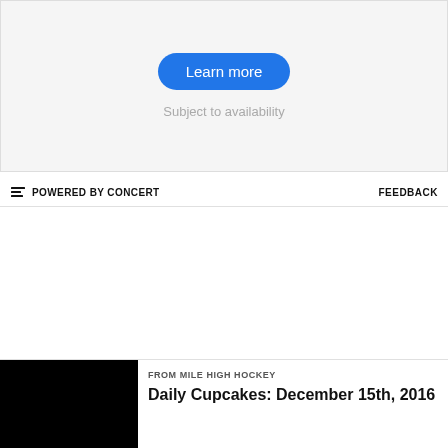[Figure (other): Ad unit with a blue 'Learn more' pill button and 'Subject to availability' text on a light gray background]
POWERED BY CONCERT
FEEDBACK
FROM MILE HIGH HOCKEY
Daily Cupcakes: December 15th, 2016